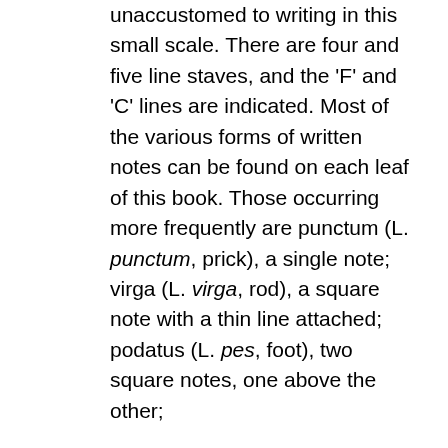unaccustomed to writing in this small scale. There are four and five line staves, and the 'F' and 'C' lines are indicated. Most of the various forms of written notes can be found on each leaf of this book. Those occurring more frequently are punctum (L. punctum, prick), a single note; virga (L. virga, rod), a square note with a thin line attached; podatus (L. pes, foot), two square notes, one above the other;